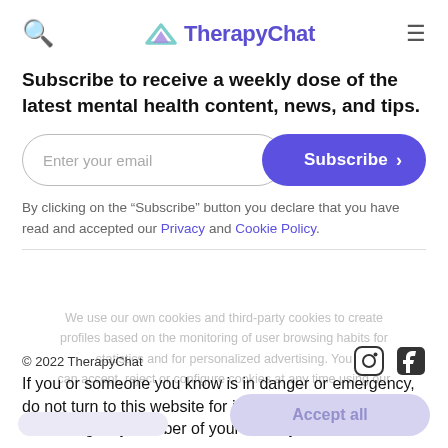TherapyChat
Subscribe to receive a weekly dose of the latest mental health content, news, and tips.
[Figure (screenshot): Email subscribe form with input field and Subscribe button]
By clicking on the "Subscribe" button you declare that you have read and accepted our Privacy and Cookie Policy.
We use our own cookies and third-party cookies to create profiles based on the monitoring of user browsing habits for statistics and for personalized advertising. You can accept, reject or configure cookies at any time using our
© 2022 TherapyChat
If you or someone you know is in danger or emergency, do not turn to this website for immediate help. Contact the emergency number of your country.